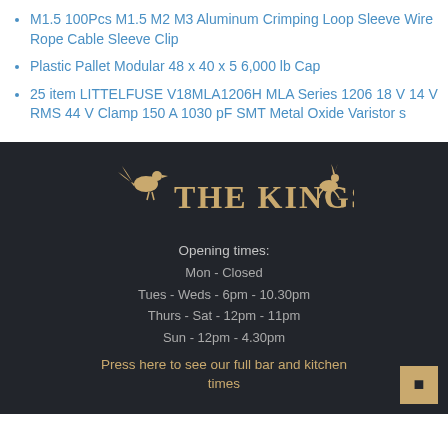M1.5 100Pcs M1.5 M2 M3 Aluminum Crimping Loop Sleeve Wire Rope Cable Sleeve Clip
Plastic Pallet Modular 48 x 40 x 5 6,000 lb Cap
25 item LITTELFUSE V18MLA1206H MLA Series 1206 18 V 14 V RMS 44 V Clamp 150 A 1030 pF SMT Metal Oxide Varistor s
[Figure (logo): The Kings Arms pub logo with pheasant bird silhouette and hare silhouette in gold on dark background]
Opening times:
Mon - Closed
Tues - Weds - 6pm - 10.30pm
Thurs - Sat - 12pm - 11pm
Sun - 12pm - 4.30pm
Press here to see our full bar and kitchen times